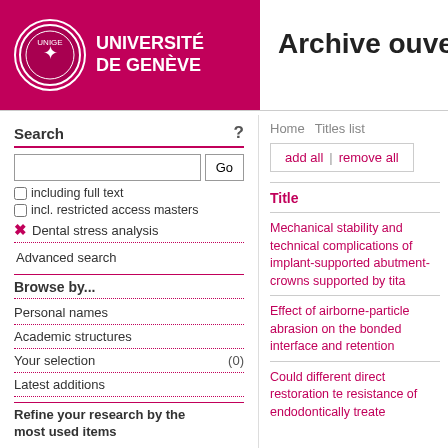[Figure (logo): Université de Genève logo with crest and pink background]
Archive ouverte UN
Search
including full text
incl. restricted access masters
Dental stress analysis
Advanced search
Browse by...
Personal names
Academic structures
Your selection (0)
Latest additions
Refine your research by the most used items
Home  Titles list
add all | remove all
Title
Mechanical stability and technical complications of implant-supported abutment-crowns supported by tita
Effect of airborne-particle abrasion on the bonded interface and retention
Could different direct restoration techniques affect the fracture resistance of endodontically treate